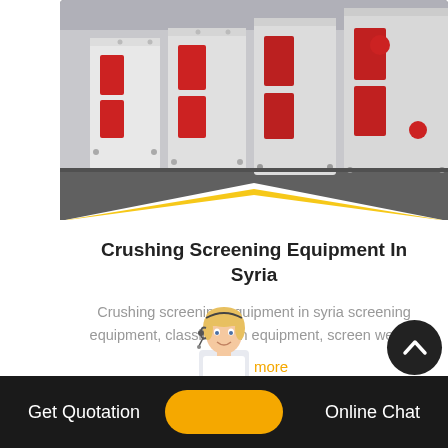[Figure (photo): Industrial crushing and screening equipment – large white and red machinery units lined up in a factory or outdoor area]
Crushing Screening Equipment In Syria
Crushing screening equipment in syria screening equipment, classification equipment, screen we are
read more
[Figure (photo): Customer service agent (woman with headset) overlapping footer]
Get Quotation   Online Chat